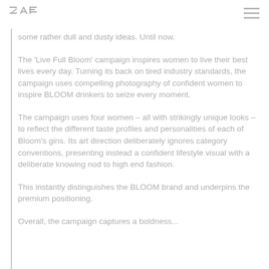ZAE [logo] | [hamburger menu]
some rather dull and dusty ideas. Until now.
The 'Live Full Bloom' campaign inspires women to live their best lives every day. Turning its back on tired industry standards, the campaign uses compelling photography of confident women to inspire BLOOM drinkers to seize every moment.
The campaign uses four women – all with strikingly unique looks – to reflect the different taste profiles and personalities of each of Bloom's gins. Its art direction deliberately ignores category conventions, presenting instead a confident lifestyle visual with a deliberate knowing nod to high end fashion.
This instantly distinguishes the BLOOM brand and underpins the premium positioning.
Overall, the campaign captures a boldness...